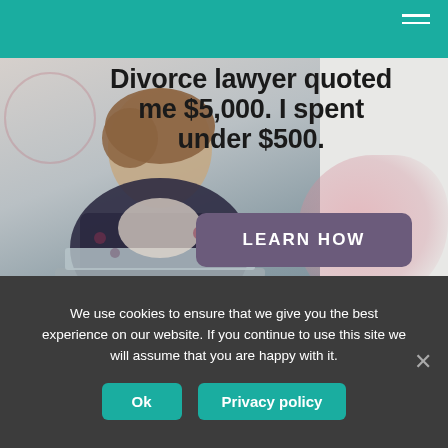Divorce lawyer quoted me $5,000. I spent under $500.
[Figure (photo): Woman sitting at laptop computer, looking thoughtful, with decorative pink watercolor elements in the background]
LEARN HOW
We use cookies to ensure that we give you the best experience on our website. If you continue to use this site we will assume that you are happy with it.
Ok
Privacy policy